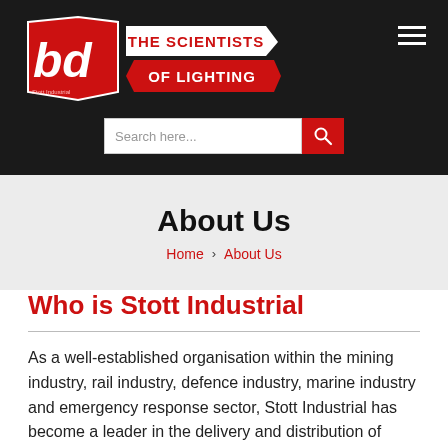[Figure (logo): BD 'The Scientists of Lighting' logo with red and white hexagonal/arrow badge on dark background]
About Us
Home › About Us
Who is Stott Industrial
As a well-established organisation within the mining industry, rail industry, defence industry, marine industry and emergency response sector, Stott Industrial has become a leader in the delivery and distribution of